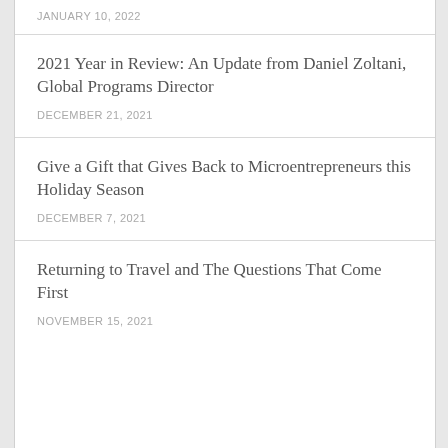JANUARY 10, 2022
2021 Year in Review: An Update from Daniel Zoltani, Global Programs Director
DECEMBER 21, 2021
Give a Gift that Gives Back to Microentrepreneurs this Holiday Season
DECEMBER 7, 2021
Returning to Travel and The Questions That Come First
NOVEMBER 15, 2021